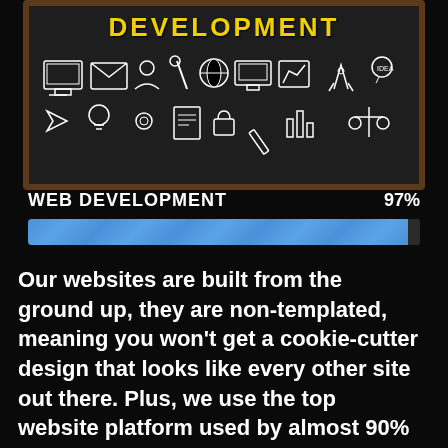[Figure (illustration): Chalkboard-style illustration with 'DEVELOPMENT' text in yellow and various web/tech icons drawn in chalk-style white lines on dark background, framed with a brown wooden border]
WEB DEVELOPMENT
[Figure (infographic): Horizontal progress bar showing 97% completion, filled with blue diagonal-striped bar on dark background]
Our websites are built from the ground up, they are non-templated, meaning you won't get a cookie-cutter design that looks like every other site out there.  Plus, we use the top website platform used by almost 90% of websites online today